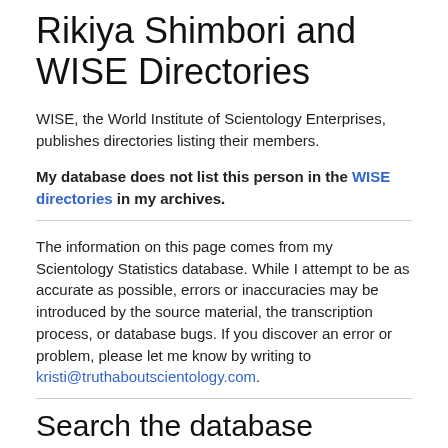Rikiya Shimbori and WISE Directories
WISE, the World Institute of Scientology Enterprises, publishes directories listing their members.
My database does not list this person in the WISE directories in my archives.
The information on this page comes from my Scientology Statistics database. While I attempt to be as accurate as possible, errors or inaccuracies may be introduced by the source material, the transcription process, or database bugs. If you discover an error or problem, please let me know by writing to kristi@truthaboutscientology.com.
Search the database
Name